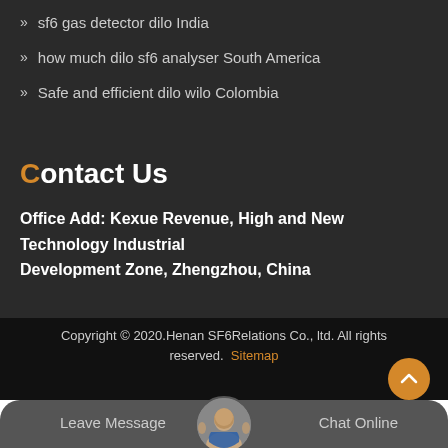sf6 gas detector dilo India
how much dilo sf6 analyser South America
Safe and efficient dilo wilo Colombia
Contact Us
Office Add: Kexue Revenue, High and New Technology Industrial Development Zone, Zhengzhou, China
Copyright © 2020.Henan SF6Relations Co., ltd. All rights reserved. Sitemap
Leave Message
Chat Online